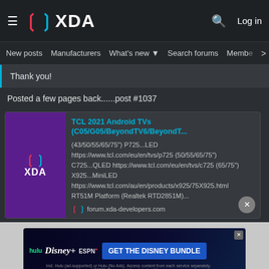XDA – Log in
New posts  Manufacturers  What's new  Search forums  Members  >
Thank you!
Posted a few pages back......post #1037
[Figure (screenshot): XDA forum link preview card for 'TCL 2021 Android TVs (C05/G05/BeyondTV6/BeyondT...' showing TV model specs and URLs]
[Figure (infographic): Disney Bundle advertisement banner with Hulu, Disney+, and ESPN+ logos and 'GET THE DISNEY BUNDLE' CTA button]